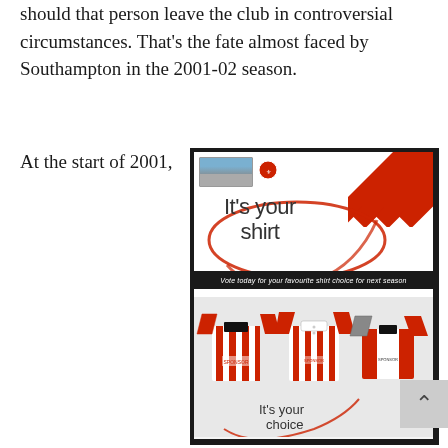should that person leave the club in controversial circumstances. That's the fate almost faced by Southampton in the 2001-02 season.
At the start of 2001,
[Figure (photo): Southampton FC 'It's your shirt' promotional leaflet showing three shirt options and 'it's your choice' text at bottom, with Saints crest and stadium thumbnail at top.]